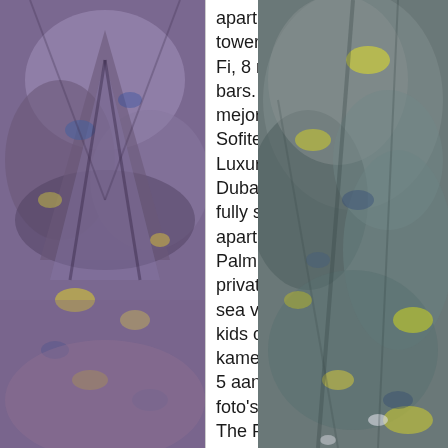[Figure (photo): Close-up photo of rock/stone surface with purple, blue, brown and yellow-green lichen textures, mirrored symmetrically]
apartment buildings and towers. It features free Wi-Fi, 8 restaurants and 7 bars. Encuentra las mejores ofertas para Sofitel Dubai The Palm Luxury Apartments en Dubai. 1 and 2 bedroom fully serviced hotel apartments for rent on Palm Jumeirah with a private beach, panoramic sea views, 24-hour gym & kids club. Vergelijk kamertypes en prijzen van 5 aanbieders en bekijk 35 foto's van Sofitel Dubai The Palm Luxury Apartments, Dubai. Rooms have private balconies. From AU$260 per night on Tripadvisor: Sofitel Dubai The Palm Luxury Apartments, Dubai. Bekijk 129 foto's en lees 637 beoordelingen. The airport is conveniently located when visiting this Dubai hotel. Aquaventure (parque acuático) está a unos minutos de distancia. Rent fully furnished hotel apartments for monthly
[Figure (photo): Close-up photo of rock/stone surface with grey, blue and yellow-green lichen textures]